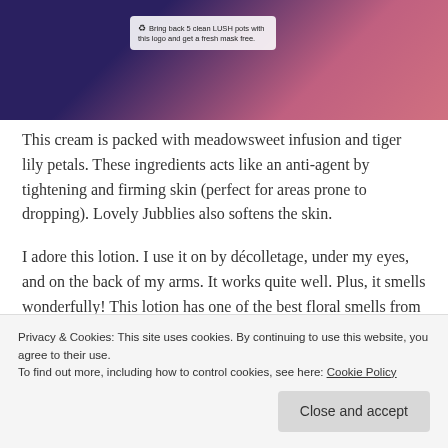[Figure (photo): Close-up photo of a dark-lidded cream pot (LUSH product) resting on a pink and navy blue patterned fabric. The lid shows a recycling symbol label that reads: 'Bring back 5 clean LUSH pots with this logo and get a fresh mask free.']
This cream is packed with meadowsweet infusion and tiger lily petals. These ingredients acts like an anti-agent by tightening and firming skin (perfect for areas prone to dropping). Lovely Jubblies also softens the skin.
I adore this lotion. I use it on by décolletage, under my eyes, and on the back of my arms. It works quite well. Plus, it smells wonderfully! This lotion has one of the best floral smells from LUSH. It contains orange blossom, jasmine, and
Privacy & Cookies: This site uses cookies. By continuing to use this website, you agree to their use.
To find out more, including how to control cookies, see here: Cookie Policy
Close and accept